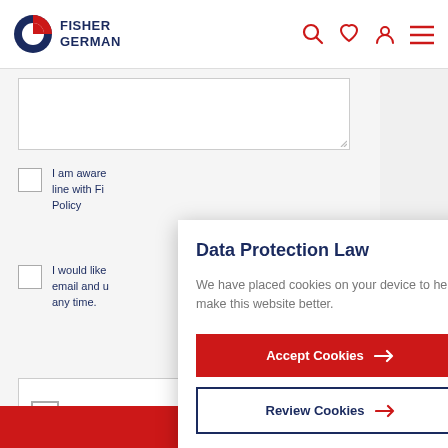Fisher German
[Figure (screenshot): Fisher German website header with logo and navigation icons (search, heart, user, menu)]
I am aware... line with Fi... Policy
I would like... email and u... any time.
I'm not a ro...
Data Protection Law
We have placed cookies on your device to help make this website better.
Accept Cookies
Review Cookies